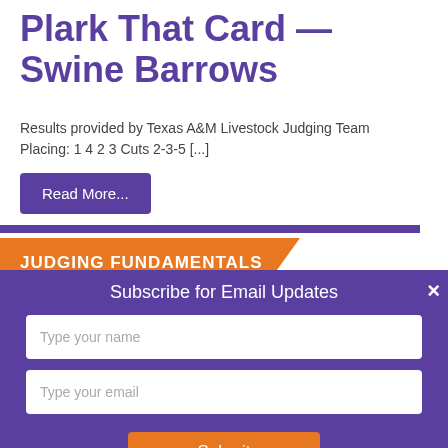Plark That Card — Swine Barrows
Results provided by Texas A&M Livestock Judging Team
Placing: 1 4 2 3 Cuts 2-3-5 [...]
Read More...
JUDGING FUNDAMENTALS
Subscribe for Email Updates
Type your name
Type your email
Submit